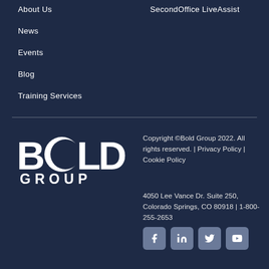About Us
SecondOffice LiveAssist
News
Events
Blog
Training Services
[Figure (logo): Bold Group logo — white stylized text BOLD with crescent C, and GROUP below]
Copyright ©Bold Group 2022. All rights reserved. | Privacy Policy | Cookie Policy
4050 Lee Vance Dr. Suite 250, Colorado Springs, CO 80918 | 1-800-255-2653
[Figure (other): Social media icons: Facebook, LinkedIn, Twitter, YouTube]